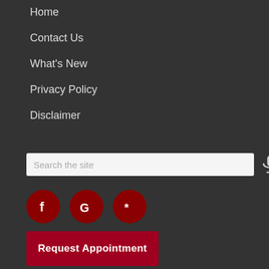Home
Contact Us
What's New
Privacy Policy
Disclaimer
[Figure (other): Search input field with microphone icon]
[Figure (other): Social media icons: Facebook, Google, Yelp — dark red circular buttons]
Request Appointment